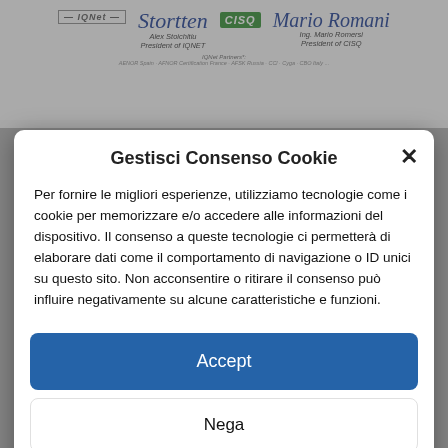[Figure (screenshot): Background document showing IQNet and CISQ logos with signatures of Alex Stoichitiu (President of IQNET) and Ing. Mario Romersi (President of CISQ), with IQNet Partners text below]
Gestisci Consenso Cookie
Per fornire le migliori esperienze, utilizziamo tecnologie come i cookie per memorizzare e/o accedere alle informazioni del dispositivo. Il consenso a queste tecnologie ci permetterà di elaborare dati come il comportamento di navigazione o ID unici su questo sito. Non acconsentire o ritirare il consenso può influire negativamente su alcune caratteristiche e funzioni.
Accept
Nega
Visualizza le preferenze
Cookie Policy  Privacy Policy